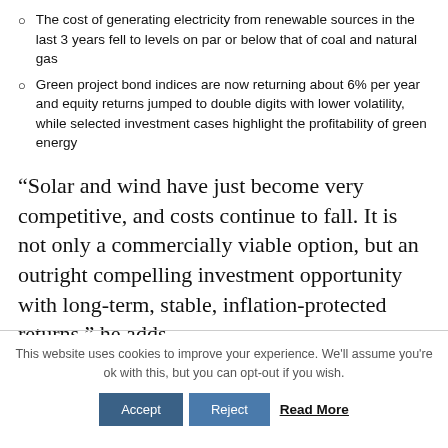The cost of generating electricity from renewable sources in the last 3 years fell to levels on par or below that of coal and natural gas
Green project bond indices are now returning about 6% per year and equity returns jumped to double digits with lower volatility, while selected investment cases highlight the profitability of green energy
“Solar and wind have just become very competitive, and costs continue to fall. It is not only a commercially viable option, but an outright compelling investment opportunity with long-term, stable, inflation-protected returns.” he adds.
This website uses cookies to improve your experience. We’ll assume you’re ok with this, but you can opt-out if you wish.